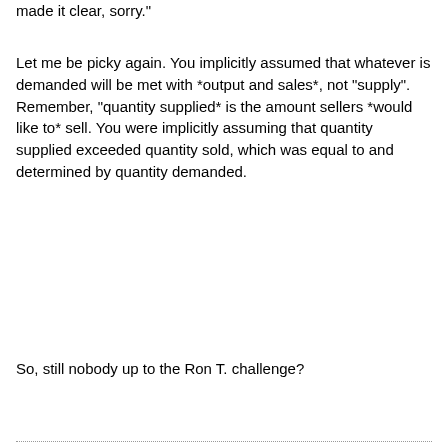made it clear, sorry."
Let me be picky again. You implicitly assumed that whatever is demanded will be met with *output and sales*, not "supply". Remember, "quantity supplied* is the amount sellers *would like to* sell. You were implicitly assuming that quantity supplied exceeded quantity sold, which was equal to and determined by quantity demanded.
So, still nobody up to the Ron T. challenge?